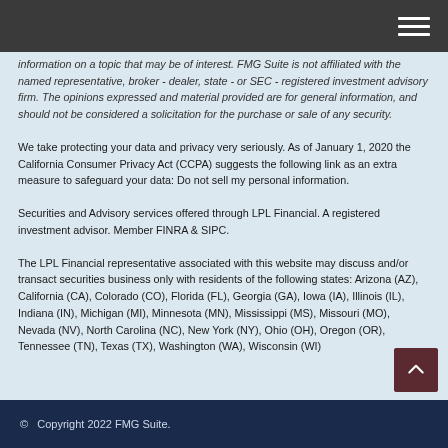information on a topic that may be of interest. FMG Suite is not affiliated with the named representative, broker - dealer, state - or SEC - registered investment advisory firm. The opinions expressed and material provided are for general information, and should not be considered a solicitation for the purchase or sale of any security.
We take protecting your data and privacy very seriously. As of January 1, 2020 the California Consumer Privacy Act (CCPA) suggests the following link as an extra measure to safeguard your data: Do not sell my personal information.
Securities and Advisory services offered through LPL Financial. A registered investment advisor. Member FINRA & SIPC.
The LPL Financial representative associated with this website may discuss and/or transact securities business only with residents of the following states: Arizona (AZ), California (CA), Colorado (CO), Florida (FL), Georgia (GA), Iowa (IA), Illinois (IL), Indiana (IN), Michigan (MI), Minnesota (MN), Mississippi (MS), Missouri (MO), Nevada (NV), North Carolina (NC), New York (NY), Ohio (OH), Oregon (OR), Tennessee (TN), Texas (TX), Washington (WA), Wisconsin (WI)
© Copyright 2022 FMG Suite.